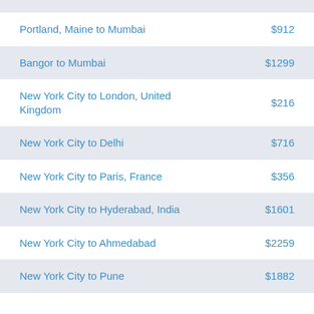Portland, Maine to Mumbai  $912
Bangor to Mumbai  $1299
New York City to London, United Kingdom  $216
New York City to Delhi  $716
New York City to Paris, France  $356
New York City to Hyderabad, India  $1601
New York City to Ahmedabad  $2259
New York City to Pune  $1882